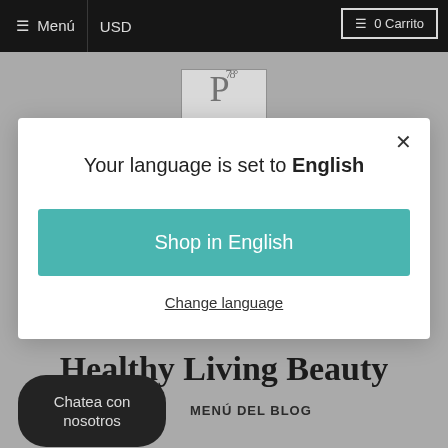☰ Menú  |  USD  |  ☰ 0 Carrito
[Figure (logo): Pt 78 logo in a bordered box]
Your language is set to English
Shop in English
Change language
Healthy Living Beauty
Chatea con nosotros
MENÚ DEL BLOG